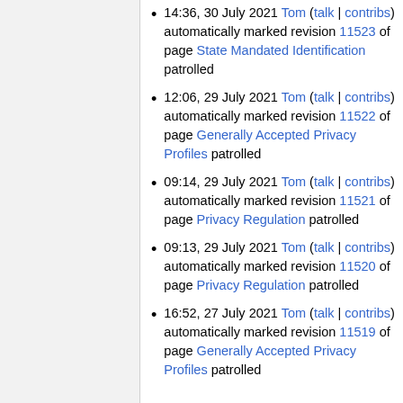14:36, 30 July 2021 Tom (talk | contribs) automatically marked revision 11523 of page State Mandated Identification patrolled
12:06, 29 July 2021 Tom (talk | contribs) automatically marked revision 11522 of page Generally Accepted Privacy Profiles patrolled
09:14, 29 July 2021 Tom (talk | contribs) automatically marked revision 11521 of page Privacy Regulation patrolled
09:13, 29 July 2021 Tom (talk | contribs) automatically marked revision 11520 of page Privacy Regulation patrolled
16:52, 27 July 2021 Tom (talk | contribs) automatically marked revision 11519 of page Generally Accepted Privacy Profiles patrolled